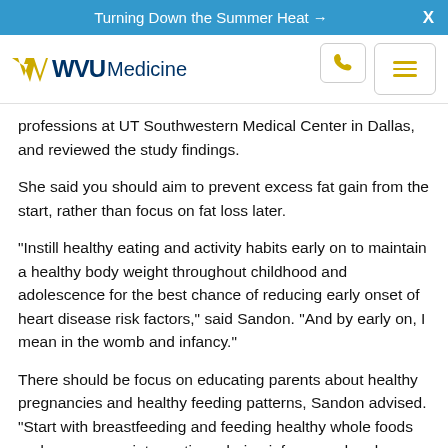Turning Down the Summer Heat →  X
[Figure (logo): WVU Medicine logo with gold flying WV mark and phone/menu nav icons]
professions at UT Southwestern Medical Center in Dallas, and reviewed the study findings.
She said you should aim to prevent excess fat gain from the start, rather than focus on fat loss later.
"Instill healthy eating and activity habits early on to maintain a healthy body weight throughout childhood and adolescence for the best chance of reducing early onset of heart disease risk factors," said Sandon. "And by early on, I mean in the womb and infancy."
There should be focus on educating parents about healthy pregnancies and healthy feeding patterns, Sandon advised. "Start with breastfeeding and feeding healthy whole foods and age-appropriate portions during infancy and early childhood," she said.